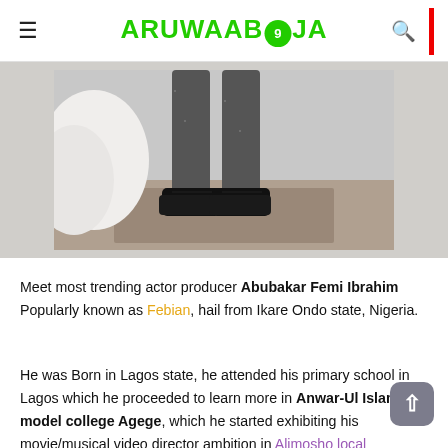ARUWAAB9JA
[Figure (photo): Photo showing the lower body and feet of a person wearing dark jeans and black boots/sneakers, standing on a patterned rug/carpet, with white fabric (possibly bedding) visible to the left.]
Meet most trending actor producer Abubakar Femi Ibrahim Popularly known as Febian, hail from Ikare Ondo state, Nigeria.
He was Born in Lagos state, he attended his primary school in Lagos which he proceeded to learn more in Anwar-Ul Islam model college Agege, which he started exhibiting his movie/musical video director ambition in Alimosho local